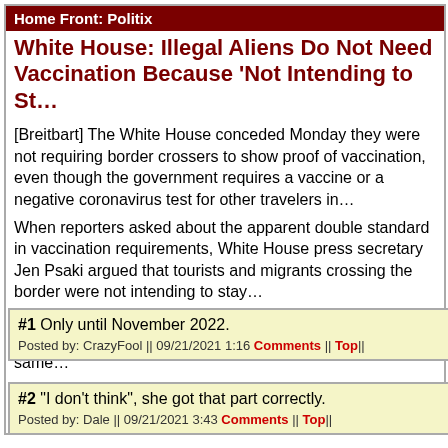Home Front: Politix
White House: Illegal Aliens Do Not Need Vaccination Because 'Not Intending to St...
[Breitbart] The White House conceded Monday they were not requiring border crossers to show proof of vaccination, even though the government requires a vaccine or a negative coronavirus test for other travelers in...
When reporters asked about the apparent double standard in vaccination requirements, White House press secretary Jen Psaki argued that tourists and migrants crossing the border were not intending to stay...
"They're not intending to stay here for a lengthy period of ti... migrants. "I don't think it's the same thing. It's not the same...
Posted by: Besoeker || 09/21/2021 01:08 || Comments || Link || E-Mail|| [355... Trafficking
#1  Only until November 2022.
Posted by: CrazyFool || 09/21/2021 1:16 Comments || Top||
#2  "I don't think", she got that part correctly.
Posted by: Dale || 09/21/2021 3:43 Comments || Top||